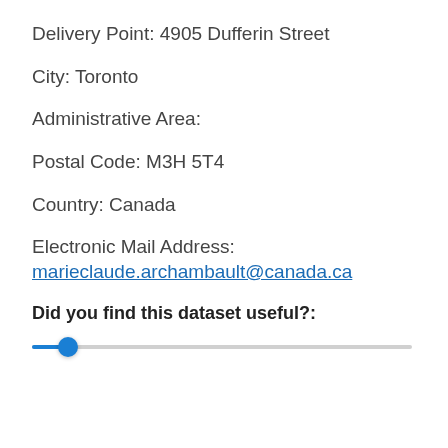Delivery Point: 4905 Dufferin Street
City: Toronto
Administrative Area:
Postal Code: M3H 5T4
Country: Canada
Electronic Mail Address:
marieclaude.archambault@canada.ca
Did you find this dataset useful?:
[Figure (other): Horizontal slider control positioned at the far left end]